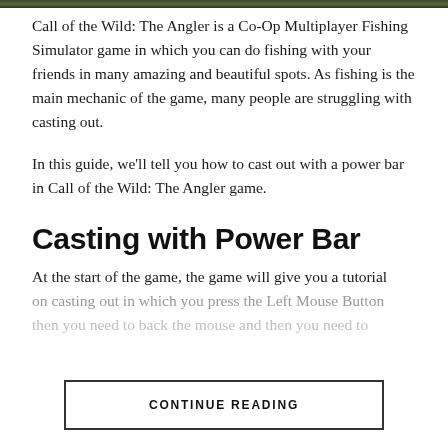[Figure (photo): Dark green forest/nature banner image at top of page]
Call of the Wild: The Angler is a Co-Op Multiplayer Fishing Simulator game in which you can do fishing with your friends in many amazing and beautiful spots. As fishing is the main mechanic of the game, many people are struggling with casting out.
In this guide, we'll tell you how to cast out with a power bar in Call of the Wild: The Angler game.
Casting with Power Bar
At the start of the game, the game will give you a tutorial on casting out in which you press the Left Mouse Button then you need to back the mouse and then you need to
CONTINUE READING